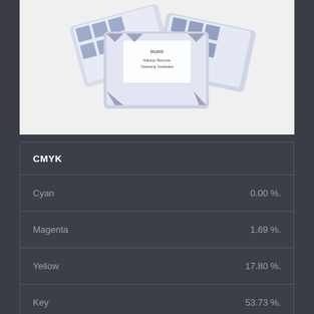[Figure (photo): Product photo of Biomir makeup remover cleansing towelettes packages with blue and white geometric pattern packaging, arranged in a fan/spread layout on white background]
| CMYK |  |
| --- | --- |
| Cyan | 0.00 %. |
| Magenta | 1.69 %. |
| Yellow | 17.80 %. |
| Key | 53.73 %. |
| HSV/HSB | CLOSE |
| --- | --- |
| Hue | 54.29° |